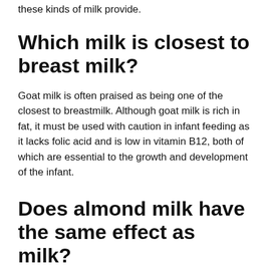these kinds of milk provide.
Which milk is closest to breast milk?
Goat milk is often praised as being one of the closest to breastmilk. Although goat milk is rich in fat, it must be used with caution in infant feeding as it lacks folic acid and is low in vitamin B12, both of which are essential to the growth and development of the infant.
Does almond milk have the same effect as milk?
Additionally, unfiltered homemade versions may have a greater amount of almonds left in them, and these may be higher in...